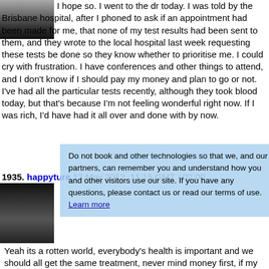[Figure (photo): Black and white avatar photo of a person at top left]
I hope so. I went to the dr today. I was told by the Brisbane hospital, after I phoned to ask if an appointment had been made for me, that none of my test results had been sent to them, and they wrote to the local hospital last week requesting these tests be done so they know whether to prioritise me. I could cry with frustration. I have conferences and other things to attend, and I don't know if I should pay my money and plan to go or not. I've had all the particular tests recently, although they took blood today, but that's because I'm not feeling wonderful right now. If I was rich, I'd have had it all over and done with by now.
1935. happyture  12 May 2012, 11:15 GMT +02:00
[Figure (photo): Black and white avatar photo of an older man with mustache]
Cookie overlay: Do not book and other technologies so that we, and our partners, can remember you and understand how you and other visitors use our site. If you have any questions, please contact us or read our terms of use. Learn more
Yeah its a rotten world, everybody's health is important and we should all get the same treatment, never mind money first, if my 6 numbers come out tonight i will give you some muny promise :O)